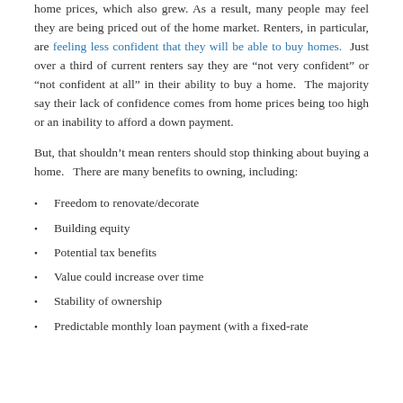home prices, which also grew. As a result, many people may feel they are being priced out of the home market. Renters, in particular, are feeling less confident that they will be able to buy homes. Just over a third of current renters say they are “not very confident” or “not confident at all” in their ability to buy a home. The majority say their lack of confidence comes from home prices being too high or an inability to afford a down payment.
But, that shouldn’t mean renters should stop thinking about buying a home.   There are many benefits to owning, including:
Freedom to renovate/decorate
Building equity
Potential tax benefits
Value could increase over time
Stability of ownership
Predictable monthly loan payment (with a fixed-rate